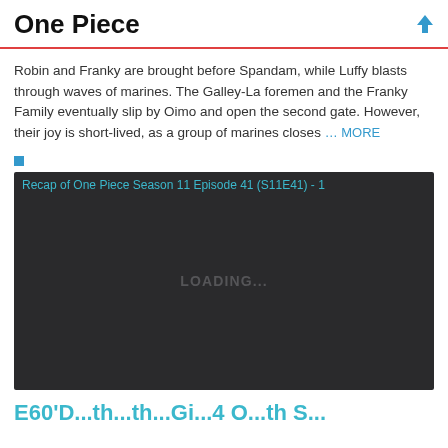One Piece
Robin and Franky are brought before Spandam, while Luffy blasts through waves of marines. The Galley-La foremen and the Franky Family eventually slip by Oimo and open the second gate. However, their joy is short-lived, as a group of marines closes … MORE
[Figure (screenshot): Dark video player loading screen with alt text 'Recap of One Piece Season 11 Episode 41 (S11E41) - 1' and LOADING... text in the center]
E60'D...th...th...Gi...4 O...th S...